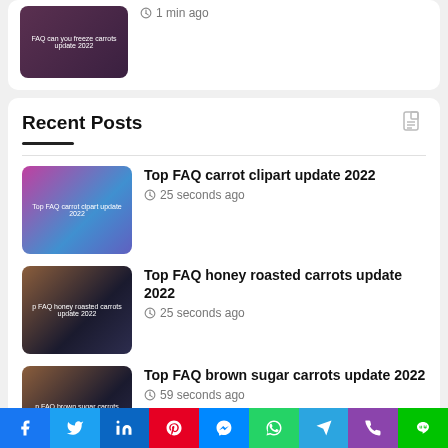[Figure (photo): Thumbnail image for FAQ can you freeze carrots article, dark purple/brown abstract texture with white text overlay]
1 min ago
Recent Posts
[Figure (photo): Thumbnail for Top FAQ carrot clipart update 2022, pink/blue/purple abstract swirl texture with text overlay]
Top FAQ carrot clipart update 2022
25 seconds ago
[Figure (photo): Thumbnail for Top FAQ honey roasted carrots update 2022, brown/dark abstract texture with text overlay]
Top FAQ honey roasted carrots update 2022
25 seconds ago
[Figure (photo): Thumbnail for Top FAQ brown sugar carrots update 2022, brown/dark abstract texture with text overlay]
Top FAQ brown sugar carrots update 2022
59 seconds ago